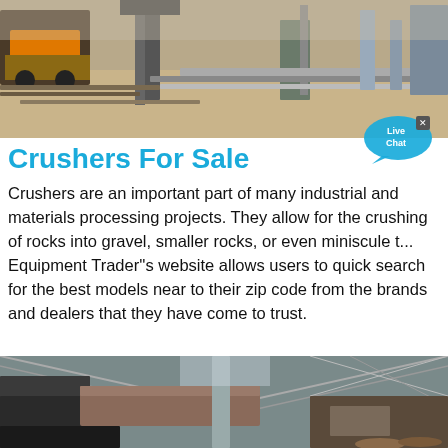[Figure (photo): Outdoor construction/mining site with heavy equipment, trucks, steel beams, pipes, and sandy ground under a bright sky.]
Crushers For Sale
Crushers are an important part of many industrial and materials processing projects. They allow for the crushing of rocks into gravel, smaller rocks, or even miniscule t... Equipment Trader"s website allows users to quickly search for the best models near to their zip code from the brands and dealers that they have come to trust.
[Figure (screenshot): Live Chat bubble overlay widget with 'x' close button and 'Live Chat' text.]
[Figure (photo): Interior of an industrial facility or crusher plant, showing conveyor belts, machinery, structural steel framework, and piping inside a large warehouse/shed.]